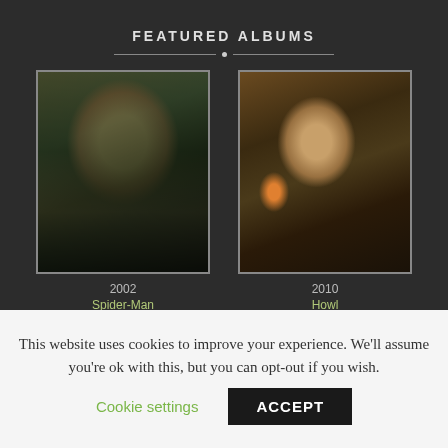FEATURED ALBUMS
[Figure (photo): Movie still from Spider-Man (2002) showing a young man with glasses and brown hair seated at a desk]
2002
Spider-Man
[Figure (photo): Movie still from Howl (2010) showing a man with dark-rimmed glasses sitting at a typewriter in a dimly lit room]
2010
Howl
This website uses cookies to improve your experience. We'll assume you're ok with this, but you can opt-out if you wish.
Cookie settings
ACCEPT